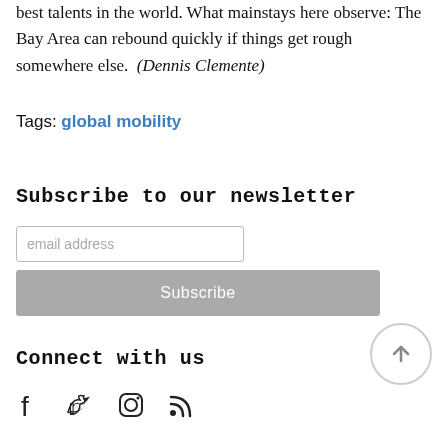best talents in the world. What mainstays here observe: The Bay Area can rebound quickly if things get rough somewhere else. (Dennis Clemente)
Tags: global mobility
Subscribe to our newsletter
email address
Subscribe
Connect with us
[Figure (other): Social media icons: Facebook, Twitter, Instagram, RSS feed]